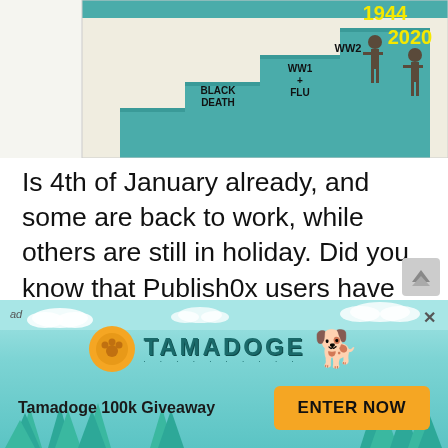[Figure (illustration): Partial illustration showing a stepped/podium infographic about historical events. Visible labels include BLACK DEATH, WW1+FLU, 1944, WW2, 2020, with figures standing on steps. Teal and beige color scheme.]
Is 4th of January already, and some are back to work, while others are still in holiday. Did you know that Publish0x users have mega discounts when booking holidays in Ampleforth Village? That's a great way to spend your hard earned tips. Great offers and cheap prices for accommodation at Ampleforth Catholic
[Figure (infographic): Tamadoge advertisement banner with teal sky/tree background. Shows Tamadoge logo (gold coin with paw print), brand name TAMADOGE in teal letters, cartoon Shiba Inu dog graphic. Bottom row: 'Tamadoge 100k Giveaway' text and 'ENTER NOW' orange button. 'ad' label top-left, X close button top-right.]